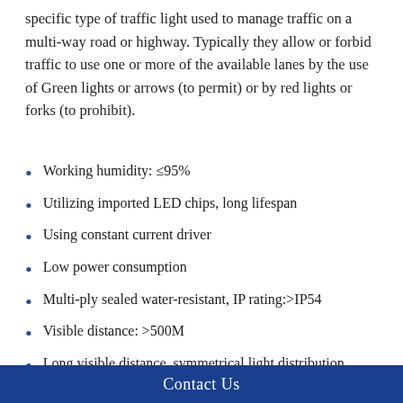specific type of traffic light used to manage traffic on a multi-way road or highway. Typically they allow or forbid traffic to use one or more of the available lanes by the use of Green lights or arrows (to permit) or by red lights or forks (to prohibit).
Working humidity: ≤95%
Utilizing imported LED chips, long lifespan
Using constant current driver
Low power consumption
Multi-ply sealed water-resistant, IP rating:>IP54
Visible distance: >500M
Long visible distance, symmetrical light distribution.
Novel structure and beautiful appearance, using inflaming retarding and UV-proof housing material.
Contact Us